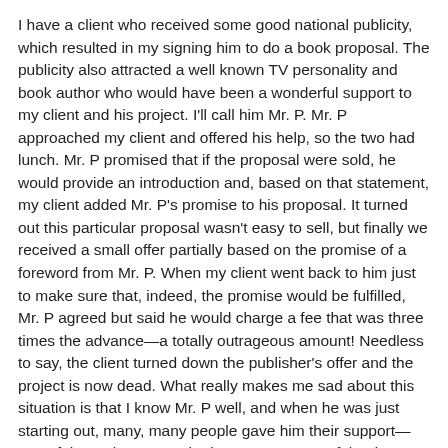I have a client who received some good national publicity, which resulted in my signing him to do a book proposal. The publicity also attracted a well known TV personality and book author who would have been a wonderful support to my client and his project. I'll call him Mr. P. Mr. P approached my client and offered his help, so the two had lunch. Mr. P promised that if the proposal were sold, he would provide an introduction and, based on that statement, my client added Mr. P's promise to his proposal. It turned out this particular proposal wasn't easy to sell, but finally we received a small offer partially based on the promise of a foreword from Mr. P. When my client went back to him just to make sure that, indeed, the promise would be fulfilled, Mr. P agreed but said he would charge a fee that was three times the advance—a totally outrageous amount! Needless to say, the client turned down the publisher's offer and the project is now dead. What really makes me sad about this situation is that I know Mr. P well, and when he was just starting out, many, many people gave him their support—one of the main reasons he is so very successful today.
On another occasion, some years ago, I remember my client